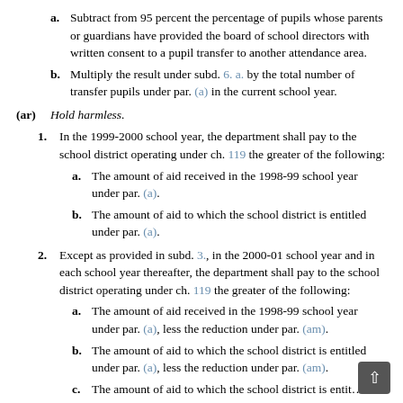a. Subtract from 95 percent the percentage of pupils whose parents or guardians have provided the board of school directors with written consent to a pupil transfer to another attendance area.
b. Multiply the result under subd. 6. a. by the total number of transfer pupils under par. (a) in the current school year.
(ar) Hold harmless.
1. In the 1999-2000 school year, the department shall pay to the school district operating under ch. 119 the greater of the following:
a. The amount of aid received in the 1998-99 school year under par. (a).
b. The amount of aid to which the school district is entitled under par. (a).
2. Except as provided in subd. 3., in the 2000-01 school year and in each school year thereafter, the department shall pay to the school district operating under ch. 119 the greater of the following:
a. The amount of aid received in the 1998-99 school year under par. (a), less the reduction under par. (am).
b. The amount of aid to which the school district is entitled under par. (a), less the reduction under par. (am).
c. The amount of aid to which the school district is entit...